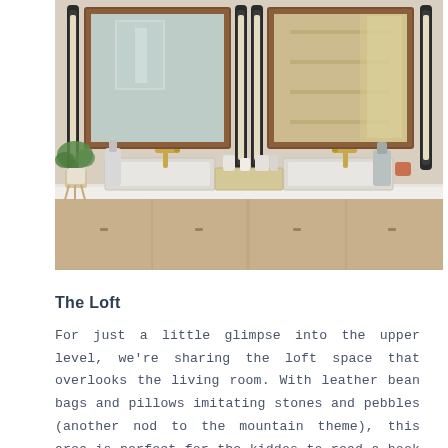[Figure (photo): A modern bathroom vanity with two sinks, two rectangular mirrors with brown/rust-colored frames, gold faucets, white countertop, light wood floating cabinet below, vertical black sconce lights on either side of each mirror, and decorative items including a plant, soap dispensers, and a small tray in the center.]
The Loft
For just a little glimpse into the upper level, we're sharing the loft space that overlooks the living room. With leather bean bags and pillows imitating stones and pebbles (another nod to the mountain theme), this area is perfect for the kiddos to read a book or play a